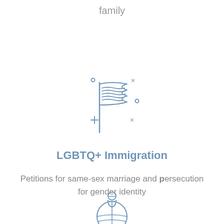family
[Figure (illustration): Line-art icon of a waving American flag with decorative sparkle/dot elements around it, drawn in steel blue]
LGBTQ+ Immigration
Petitions for same-sex marriage and persecution for gender identity
[Figure (illustration): Line-art icon of a globe with a person/location pin on top, drawn in steel blue]